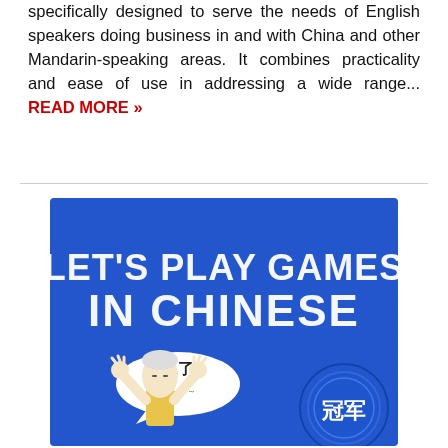specifically designed to serve the needs of English speakers doing business in and with China and other Mandarin-speaking areas. It combines practicality and ease of use in addressing a wide range... READ MORE »
[Figure (illustration): Book cover for 'Let's Play Games in Chinese' — blue background with white stylized text reading 'LET'S PLAY GAMES IN CHINESE'. Below the text is a cartoon character with raised hands and a speech bubble containing Chinese characters '我赢了！', and a blue ribbon/medal on the right side.]